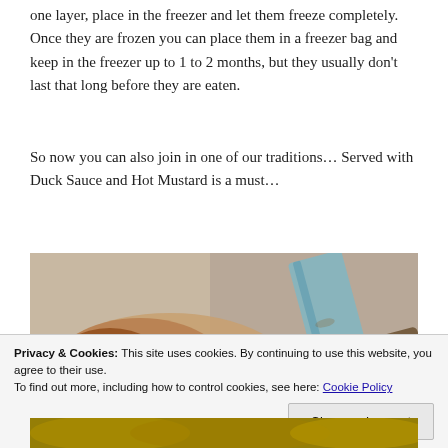one layer, place in the freezer and let them freeze completely. Once they are frozen you can place them in a freezer bag and keep in the freezer up to 1 to 2 months, but they usually don't last that long before they are eaten.
So now you can also join in one of our traditions… Served with Duck Sauce and Hot Mustard is a must…
[Figure (photo): Close-up photo of cooked food pieces (appears to be fried chicken or similar) with a knife visible on the right side, on a light background.]
[Figure (photo): Partial view of another food photo at the bottom of the page, showing what appears to be a dish with sauce or glaze.]
Privacy & Cookies: This site uses cookies. By continuing to use this website, you agree to their use. To find out more, including how to control cookies, see here: Cookie Policy